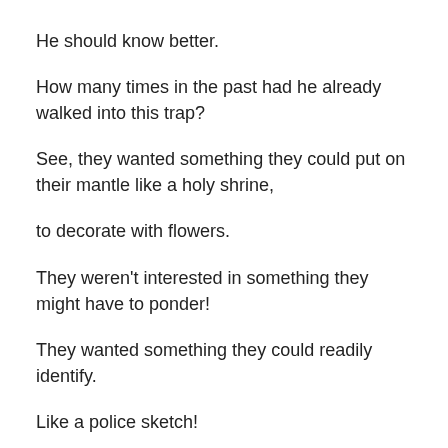He should know better.
How many times in the past had he already walked into this trap?
See, they wanted something they could put on their mantle like a holy shrine,
to decorate with flowers.
They weren't interested in something they might have to ponder!
They wanted something they could readily identify.
Like a police sketch!
“It doesn’t even look like her.”